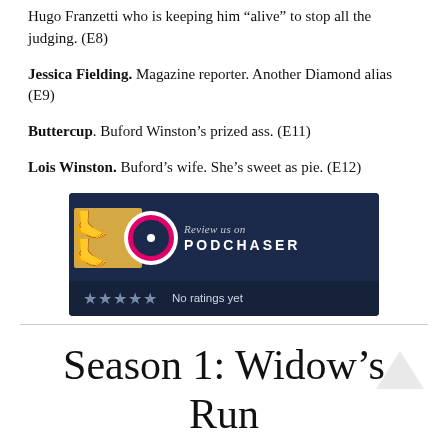Hugo Franzetti who is keeping him “alive” to stop all the judging. (E8)
Jessica Fielding. Magazine reporter. Another Diamond alias (E9)
Buttercup. Buford Winston’s prized ass. (E11)
Lois Winston. Buford’s wife. She’s sweet as pie. (E12)
[Figure (logo): Podchaser review widget with podcast logo, Podchaser branding, and star ratings showing 'No ratings yet']
Season 1: Widow’s Run